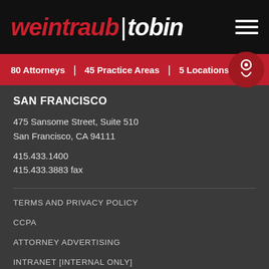weintraub | tobin
80 Attorneys  |  45 Practice Areas  |  5 Locations
SAN FRANCISCO
475 Sansome Street, Suite 510
San Francisco, CA 94111
415.433.1400
415.433.3883 fax
TERMS AND PRIVACY POLICY
CCPA
ATTORNEY ADVERTISING
INTRANET [INTERNAL ONLY]